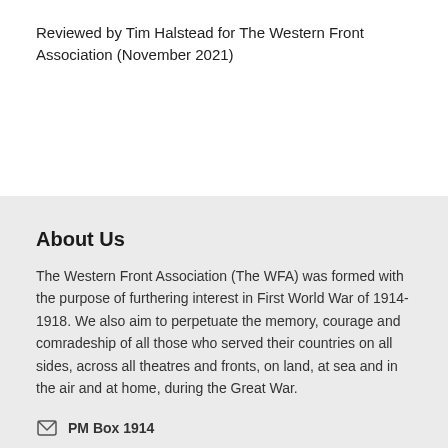Reviewed by Tim Halstead for The Western Front Association (November 2021)
About Us
The Western Front Association (The WFA) was formed with the purpose of furthering interest in First World War of 1914-1918. We also aim to perpetuate the memory, courage and comradeship of all those who served their countries on all sides, across all theatres and fronts, on land, at sea and in the air and at home, during the Great War.
PM Box 1914